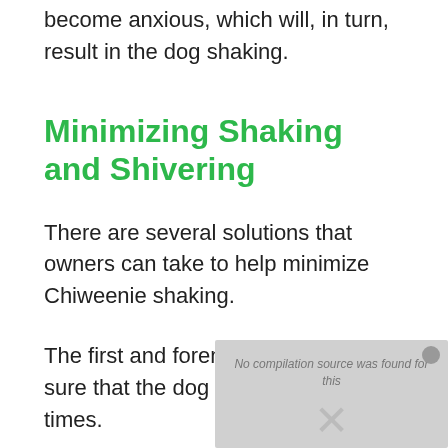become anxious, which will, in turn, result in the dog shaking.
Minimizing Shaking and Shivering
There are several solutions that owners can take to help minimize Chiweenie shaking.
The first and foremost is to make sure that the dog is kept warm at all times.
When allowing your Chiweenie to go outside during those colder months, ensure that they are appropriately attired
[Figure (other): Overlay dialog box with gray background showing 'No compilation source was found for this' message and an X close button]